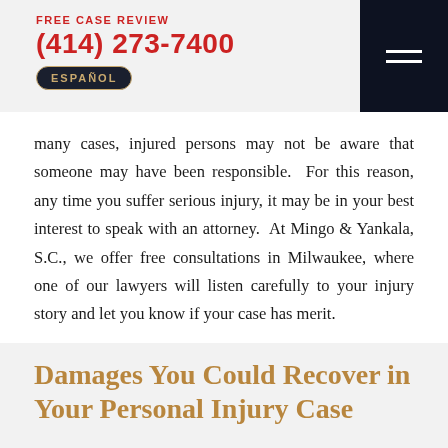FREE CASE REVIEW
(414) 273-7400
ESPAÑOL
many cases, injured persons may not be aware that someone may have been responsible.  For this reason, any time you suffer serious injury, it may be in your best interest to speak with an attorney.  At Mingo & Yankala, S.C., we offer free consultations in Milwaukee, where one of our lawyers will listen carefully to your injury story and let you know if your case has merit.
Damages You Could Recover in Your Personal Injury Case